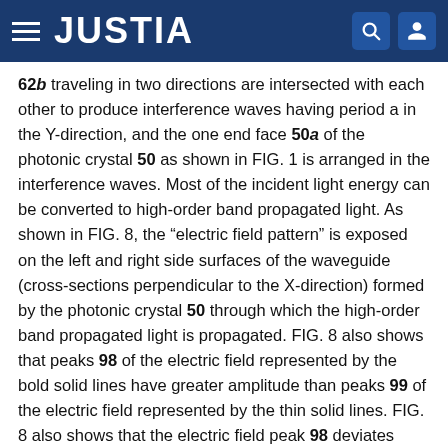JUSTIA
62b traveling in two directions are intersected with each other to produce interference waves having period a in the Y-direction, and the one end face 50a of the photonic crystal 50 as shown in FIG. 1 is arranged in the interference waves. Most of the incident light energy can be converted to high-order band propagated light. As shown in FIG. 8, the “electric field pattern” is exposed on the left and right side surfaces of the waveguide (cross-sections perpendicular to the X-direction) formed by the photonic crystal 50 through which the high-order band propagated light is propagated. FIG. 8 also shows that peaks 98 of the electric field represented by the bold solid lines have greater amplitude than peaks 99 of the electric field represented by the thin solid lines. FIG. 8 also shows that the electric field peak 98 deviates from the electric field peak 99 by “a half wavelength” between the layers having different refractive indices in the